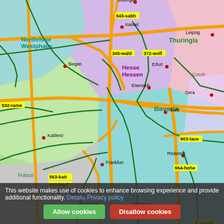[Figure (map): Map of central Germany and surrounding regions showing German states (Northrhine Westphalia, Hesse/Hessen, Thuringia, Rhineland Palatinate, Bavaria, Black Forest) and cities (Kassel, Frankfurt, Mainz, Darmstadt, Heidelberg, Mannheim, Karlsruhe, Stuttgart, Reutlingen, Freiburg, Würzburg, Nürnberg, Regensburg, Ingolstadt, Ansbach, Rothenburg o.d.Tauber, Koblenz, Siegen, Eisenach, Erfurt, Suhl, Gera, Leipzig, Rödental, Augsburg, München) with route codes (343-sabh, 345-wald, 372-wolf, 532-rame, 563-katt, 653-jagd, 674-edes, 741-lehe, 749-mich, 721-weit, 781-hors, 912-veld, 915-colm, 933-egge, 963-laue, 964-hohe). Orange highway network and green regional roads overlaid. Czech Republic and France partially visible.]
This website makes use of cookies to enhance browsing experience and provide additional functionality. Details Privacy policy